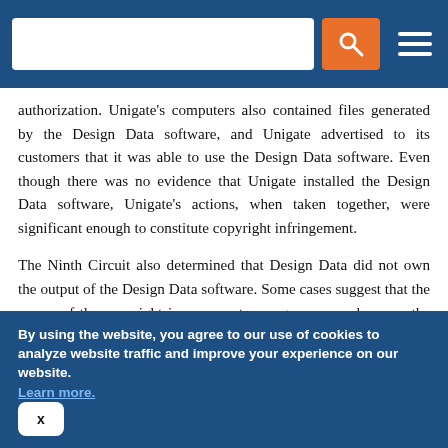[Navigation bar with search field and menu]
authorization. Unigate’s computers also contained files generated by the Design Data software, and Unigate advertised to its customers that it was able to use the Design Data software. Even though there was no evidence that Unigate installed the Design Data software, Unigate’s actions, when taken together, were significant enough to constitute copyright infringement.
The Ninth Circuit also determined that Design Data did not own the output of the Design Data software. Some cases suggest that the owner of the copyright in a computer program may also own the copyright in the program’s output when the program “does the lion’s share of the work” in producing the output. This would be the case, for example, when the user’s input is so marginal that the output reflects the work of the computer program rather than the user. Here, Design Data showed that Unigate imported and
By using the website, you agree to our use of cookies to analyze website traffic and improve your experience on our website. Learn more.